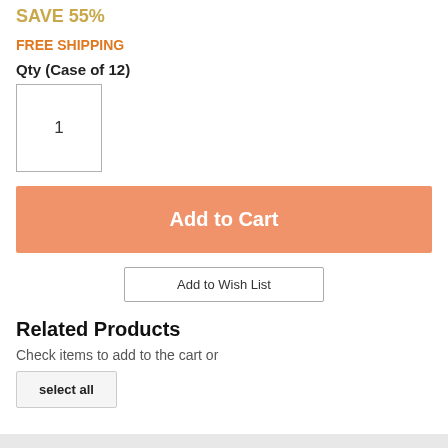SAVE 55%
FREE SHIPPING
Qty (Case of 12)
1
Add to Cart
Add to Wish List
Related Products
Check items to add to the cart or
select all